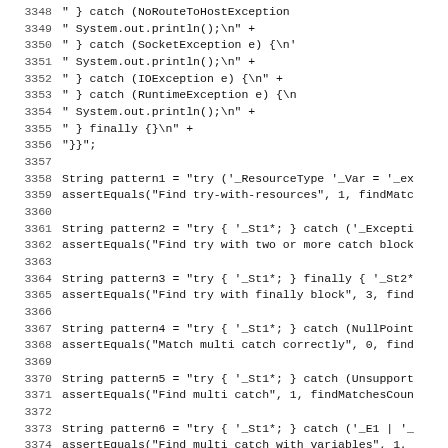Source code listing, lines 3348-3379, Java unit test code with string patterns and assertions for try-catch-finally constructs.